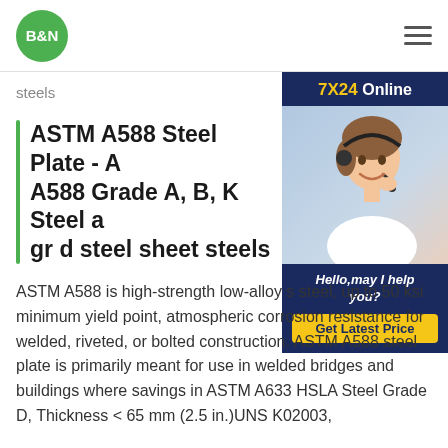[Figure (logo): B&N logo: green circle with white B&N text]
steels
ASTM A588 Steel Plate - A A588 Grade A, B, K Steel a gr d steel sheet steels
[Figure (photo): Customer service representative with headset smiling, 7X24 Online support panel with Hello, may I help you? and Get Latest Price button]
ASTM A588 is high-strength low-alloy s steel, up to 50 ksi minimum yield point, atmospheric corrosion resistance for welded, riveted, or bolted construction. ASTM A588 steel plate is primarily meant for use in welded bridges and buildings where savings in ASTM A633 HSLA Steel Grade D, Thickness < 65 mm (2.5 in.)UNS K02003,